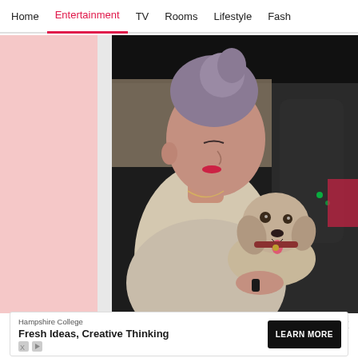Home | Entertainment | TV | Rooms | Lifestyle | Fash
[Figure (photo): Woman with light purple updo hair holding a small dog near a car, viewed from outside through car door opening. Pink background panel on left side.]
[Figure (infographic): Social sharing icons row: WhatsApp (green), Facebook (blue), Twitter (blue), Comment/chat (pink/red)]
×
Hampshire College
Fresh Ideas, Creative Thinking
LEARN MORE